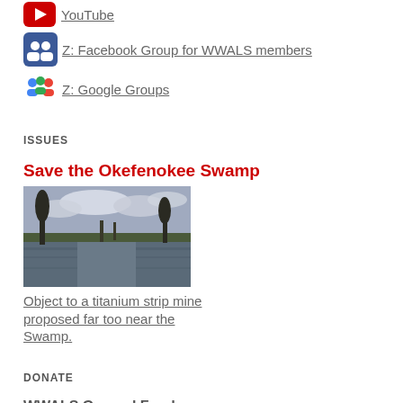YouTube
Z: Facebook Group for WWALS members
Z: Google Groups
ISSUES
Save the Okefenokee Swamp
[Figure (photo): Photograph of the Okefenokee Swamp showing water, cypress trees, and a cloudy sky]
Object to a titanium strip mine proposed far too near the Swamp.
DONATE
WWALS General Fund
Donate